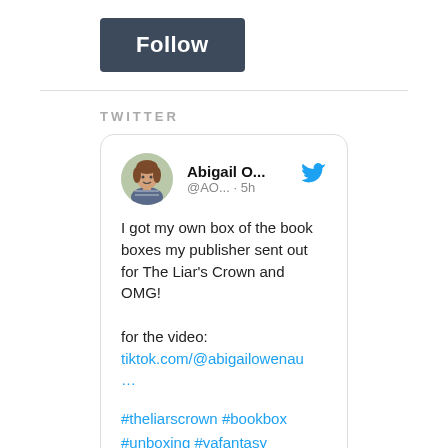[Figure (other): Follow button — dark slate rectangular button with white text 'Follow']
TWITTER
[Figure (screenshot): Embedded tweet card from Abigail O... (@AO...) posted 5h ago. Text: 'I got my own box of the book boxes my publisher sent out for The Liar's Crown and OMG! for the video: tiktok.com/@abigailowenau... #theliarscrown #bookbox #unboxing #yafantasy #nafantasy']